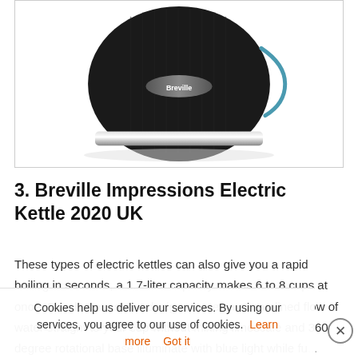[Figure (photo): Close-up photo of a black Breville electric kettle with chrome band and Breville logo badge, shot on white background]
3. Breville Impressions Electric Kettle 2020 UK
These types of electric kettles can also give you a rapid boiling in seconds, a 1.7-liter capacity makes 6 to 8 cups at once. Simple pour spout design creates a streamlined flow of water straight to your cup without mixing limescale and 360- degree rotational base illuminate with blue light while fu... replaceable with... easy clean Also come with the feature of button clip handle lid li...
Cookies help us deliver our services. By using our services, you agree to our use of cookies.  Learn more   Got it